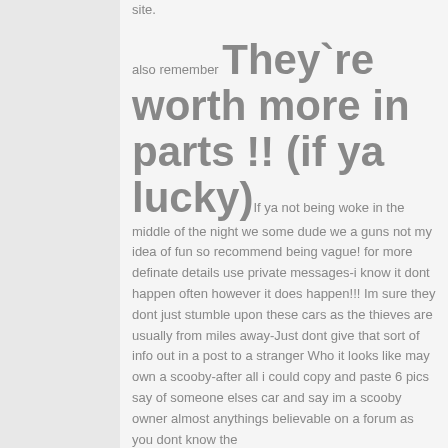site.
also remember They`re worth more in parts !! (if ya lucky) If ya not being woke in the middle of the night we some dude we a guns not my idea of fun so recommend being vague! for more definate details use private messages-i know it dont happen often however it does happen!!! Im sure they dont just stumble upon these cars as the thieves are usually from miles away-Just dont give that sort of info out in a post to a stranger Who it looks like may own a scooby-after all i could copy and paste 6 pics say of someone elses car and say im a scooby owner almost anythings believable on a forum as you dont know the